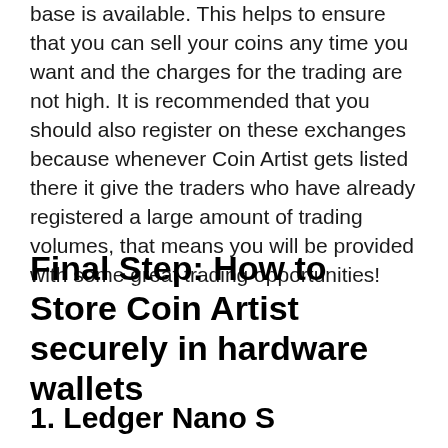base is available. This helps to ensure that you can sell your coins any time you want and the charges for the trading are not high. It is recommended that you should also register on these exchanges because whenever Coin Artist gets listed there it give the traders who have already registered a large amount of trading volumes, that means you will be provided with some great trading opportunities!
Final Step: How to Store Coin Artist securely in hardware wallets
1. Ledger Nano S